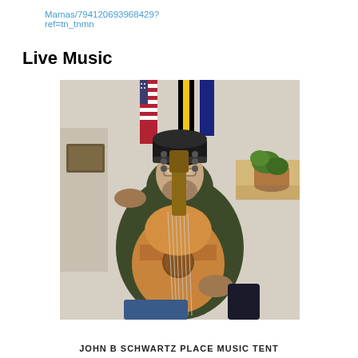Mamas/794120693968429?ref=tn_tnmn
Live Music
[Figure (photo): A middle-aged man wearing a dark beanie hat and dark olive hoodie, sitting and playing an acoustic guitar. American and other flags are visible in the background, along with a wooden shelf with potted plants.]
JOHN B SCHWARTZ PLACE MUSIC TENT